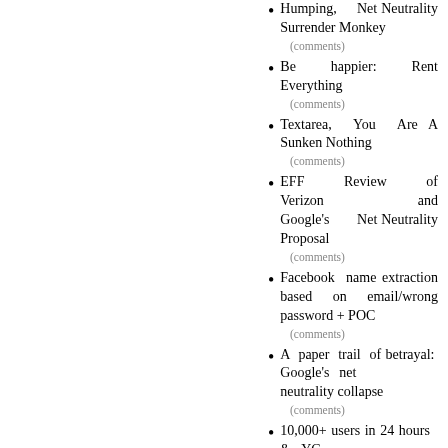Humping, Net Neutrality Surrender Monkey
(comments)
Be happier: Rent Everything
(comments)
Textarea, You Are A Sunken Nothing
(comments)
EFF Review of Verizon and Google's Net Neutrality Proposal
(comments)
Facebook name extraction based on email/wrong password + POC
(comments)
A paper trail of betrayal: Google's net neutrality collapse
(comments)
10,000+ users in 24 hours & YC